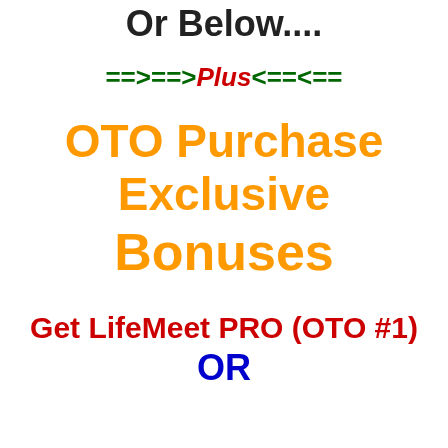Or Below....
==>==>Plus<==<==
OTO Purchase Exclusive Bonuses
Get LifeMeet PRO (OTO #1) OR